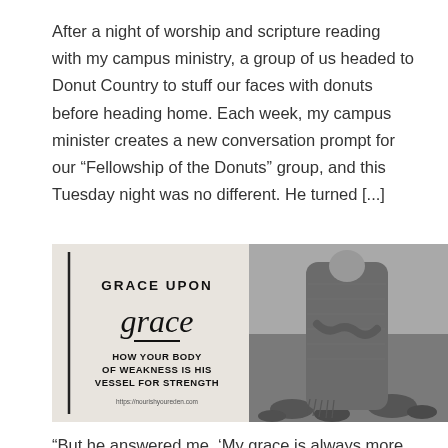After a night of worship and scripture reading with my campus ministry, a group of us headed to Donut Country to stuff our faces with donuts before heading home. Each week, my campus minister creates a new conversation prompt for our “Fellowship of the Donuts” group, and this Tuesday night was no different. He turned [...]
[Figure (illustration): Graphic image with two panels: left panel shows text 'GRACE UPON grace — HOW YOUR BODY OF WEAKNESS IS HIS VESSEL FOR STRENGTH https://nourishyoureden.com' on a light background; right panel shows a woman wrapped in a knit shawl standing outdoors among rocks, in black and white.]
“But he answered me, ‘My grace is always more than